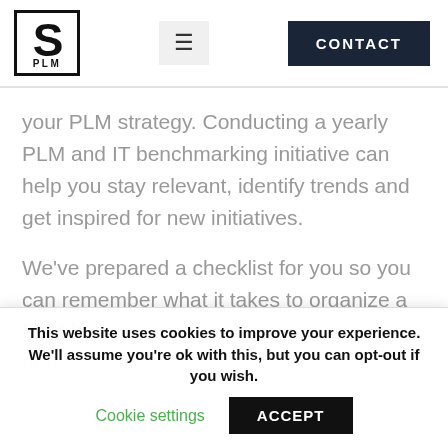[Figure (logo): S PLM logo: large S letter inside a square border with PLM text below]
your PLM strategy. Conducting a yearly PLM and IT benchmarking initiative can help you stay relevant, identify trends and get inspired for new initiatives.
We've prepared a checklist for you so you can remember what it takes to organize a PLM benchmarking initiative. You'll find the most
This website uses cookies to improve your experience. We'll assume you're ok with this, but you can opt-out if you wish.